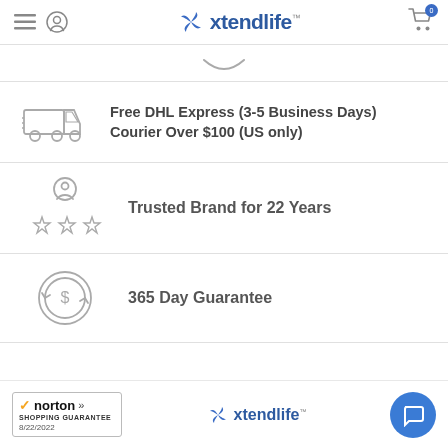Xtendlife
[Figure (illustration): Smile arc / drop shape outline icon]
Free DHL Express (3-5 Business Days) Courier Over $100 (US only)
Trusted Brand for 22 Years
365 Day Guarantee
Norton Shopping Guarantee 8/22/2022 | Xtendlife logo